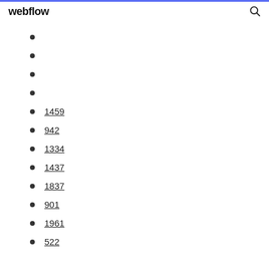webflow
1459
942
1334
1437
1837
901
1961
522